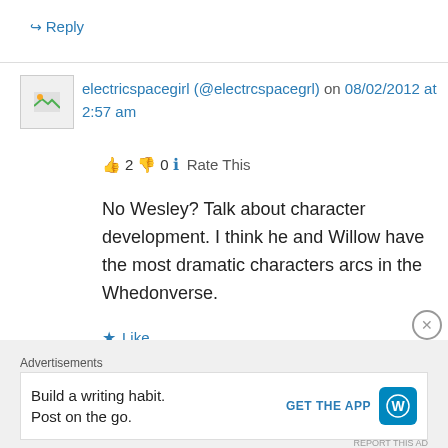↪ Reply
electricspacegirl (@electrcspacegrl) on 08/02/2012 at 2:57 am
👍 2 👎 0 ℹ Rate This
No Wesley? Talk about character development. I think he and Willow have the most dramatic characters arcs in the Whedonverse.
★ Like
↪ Reply
Advertisements
Build a writing habit. Post on the go.
GET THE APP